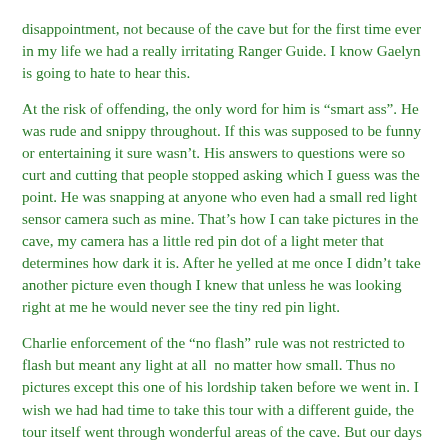disappointment, not because of the cave but for the first time ever in my life we had a really irritating Ranger Guide.  I know Gaelyn is going to hate to hear this.
At the risk of offending, the only word for him is “smart ass”.   He was rude and snippy throughout.  If this was supposed to be funny or entertaining it sure wasn’t.  His answers to questions were so curt and cutting that people stopped asking which I guess was the point.  He was snapping at anyone who even had a small red light sensor camera such as mine.  That’s how I can take pictures in the cave, my camera has a little red pin dot of a light meter that determines how dark it is.  After he yelled at me once I didn’t take another picture even though I knew that unless he was looking right at me he would never see the tiny red pin light.
Charlie enforcement of the “no flash” rule was not restricted to flash but meant any light at all  no matter how small.  Thus no pictures except this one of his lordship taken before we went in.   I wish we had had time to take this tour with a different guide, the tour itself went through wonderful areas of the cave.  But our days here are numbered and already full of tours.